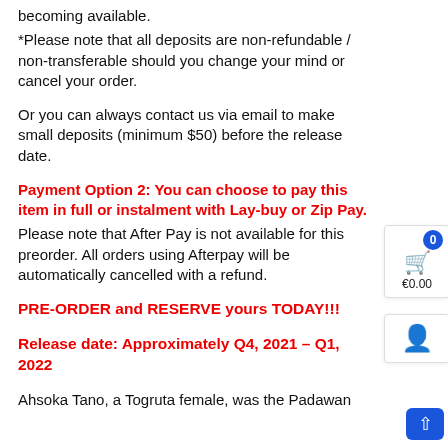becoming available.
*Please note that all deposits are non-refundable / non-transferable should you change your mind or cancel your order.
Or you can always contact us via email to make small deposits (minimum $50) before the release date.
Payment Option 2: You can choose to pay this item in full or instalment with Lay-buy or Zip Pay.
Please note that After Pay is not available for this preorder. All orders using Afterpay will be automatically cancelled with a refund.
PRE-ORDER and RESERVE yours TODAY!!!
Release date: Approximately Q4, 2021 – Q1, 2022
Ahsoka Tano, a Togruta female, was the Padawan